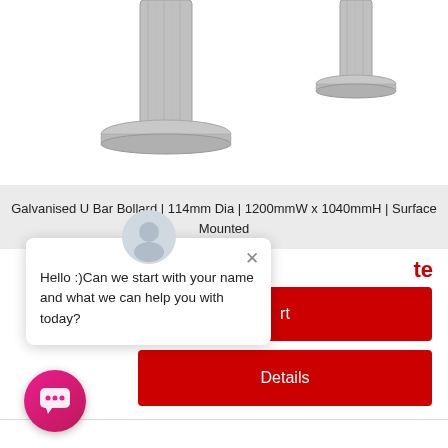[Figure (photo): Two galvanised U bar bollards shown side by side. Left bollard is larger with a wide flange base; right bollard is smaller. Both are metallic grey in colour and surface mounted.]
Galvanised U Bar Bollard | 114mm Dia | 1200mmW x 1040mmH | Surface Mounted
te
rt
Details
Hello :)Can we start with your name and what we can help you with today?